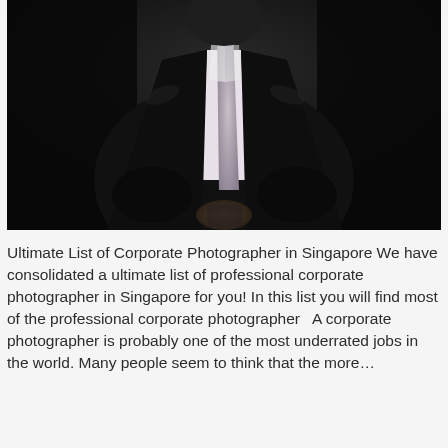[Figure (photo): Dark dramatic portrait photo of a person in a black suit and light tie, shot against a dark background, upper body visible]
Ultimate List of Corporate Photographer in Singapore We have consolidated a ultimate list of professional corporate photographer in Singapore for you! In this list you will find most of the professional corporate photographer   A corporate photographer is probably one of the most underrated jobs in the world. Many people seem to think that the more…